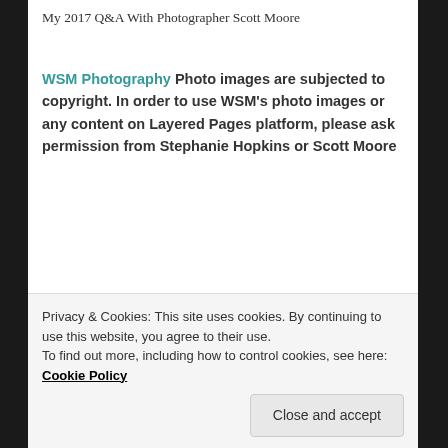My 2017 Q&A With Photographer Scott Moore
WSM Photography Photo images are subjected to copyright. In order to use WSM's photo images or any content on Layered Pages platform, please ask permission from Stephanie Hopkins or Scott Moore
Share
Like
4 bloggers like this.
Posted in #Art, #Photography | Tagged #Art, #artist, #BalanceRock, #blogger, #buildings, #camera,
Privacy & Cookies: This site uses cookies. By continuing to use this website, you agree to their use.
To find out more, including how to control cookies, see here: Cookie Policy
Close and accept